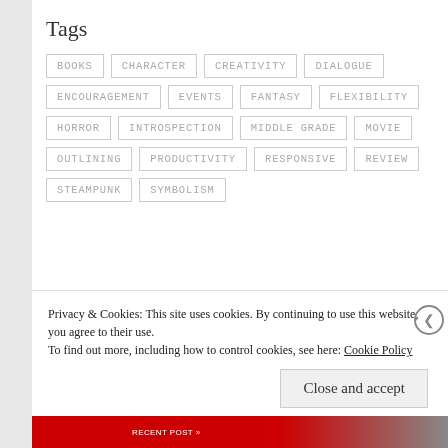Tags
BOOKS
CHARACTER
CREATIVITY
DIALOGUE
ENCOURAGEMENT
EVENTS
FANTASY
FLEXIBILITY
HORROR
INTROSPECTION
MIDDLE GRADE
MOVIE
OUTLINING
PRODUCTIVITY
RESPONSIVE
REVIEW
STEAMPUNK
SYMBOLISM
Privacy & Cookies: This site uses cookies. By continuing to use this website, you agree to their use.
To find out more, including how to control cookies, see here: Cookie Policy
Close and accept